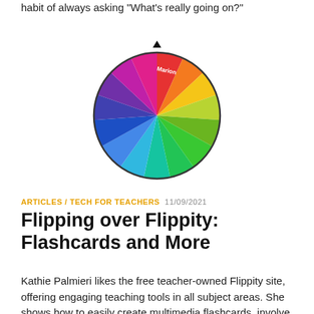habit of always asking “What’s really going on?”
[Figure (pie-chart): A colorful spinning wheel divided into 14 named segments: Robert, Ingrid, Marion, Spencer, Katherine, Dustin, Daniel, Jessica, Gary, Meryl, Jane, Bette, Daniel, Jack, Cate — each segment a different color from the rainbow spectrum, with a black downward-pointing triangle pointer at the top.]
ARTICLES / TECH FOR TEACHERS  11/09/2021
Flipping over Flippity: Flashcards and More
Kathie Palmieri likes the free teacher-owned Flippity site, offering engaging teaching tools in all subject areas. She shows how to easily create multimedia flashcards, involve